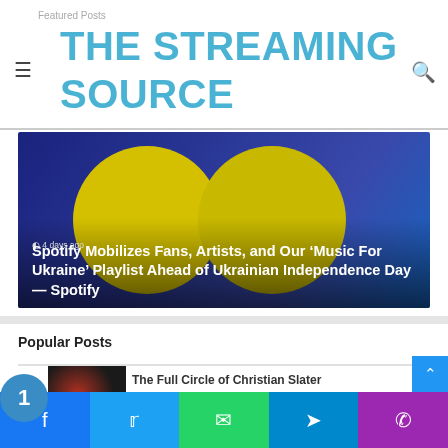Featured Posts
THE STREAMING SOURCE
[Figure (photo): Hero image with blue background and two large yellow circles. Overlay text shows '4 days ago' and article title about Spotify.]
4 days ago
Spotify Mobilizes Fans, Artists, and Our ‘Music For Ukraine’ Playlist Ahead of Ukrainian Independence Day — Spotify
Popular Posts
The Full Circle of Christian Slater
[Figure (photo): Thumbnail image for popular post about Christian Slater, dark reddish tones.]